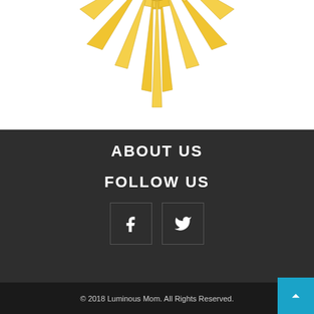[Figure (illustration): Partial view of a golden sun/star burst logo on white background, showing pointed rays radiating outward in yellow/gold color]
ABOUT US
FOLLOW US
[Figure (infographic): Social media icons: Facebook (f) and Twitter (bird) in bordered boxes on dark background]
© 2018 Luminous Mom. All Rights Reserved.